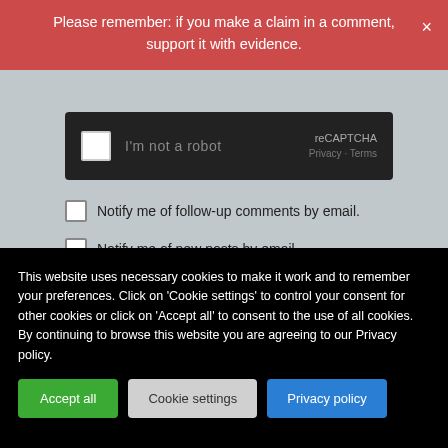Please remember: if you make a claim in a comment, support it with evidence.
[Figure (screenshot): reCAPTCHA widget showing 'I'm not a robot' checkbox on dark background]
Notify me of follow-up comments by email.
Notify me of new posts by email.
Post Comment
This site uses Akismet to reduce spam. Learn how your comment data is processed.
This website uses necessary cookies to make it work and to remember your preferences. Click on 'Cookie settings' to control your consent for other cookies or click on 'Accept all' to consent to the use of all cookies. By continuing to browse this website you are agreeing to our Privacy policy.
Accept all
Cookie settings
Privacy policy